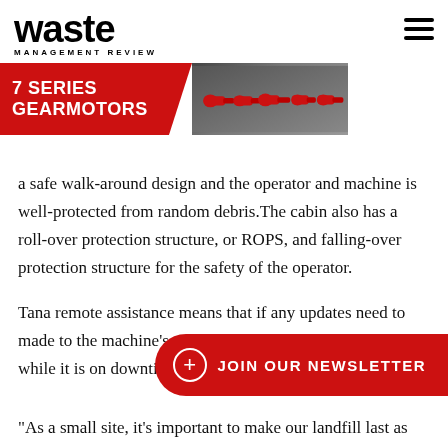waste MANAGEMENT REVIEW
[Figure (illustration): Advertisement banner for 7 Series Gearmotors showing red gearmotor equipment on a dark background with red chevron design]
a safe walk-around design and the operator and machine is well-protected from random debris.The cabin also has a roll-over protection structure, or ROPS, and falling-over protection structure for the safety of the operator.
Tana remote assistance means that if any updates need to made to the machine’s software they can be done remotely while it is on downtime
“As a small site, it’s important to make our landfill last as